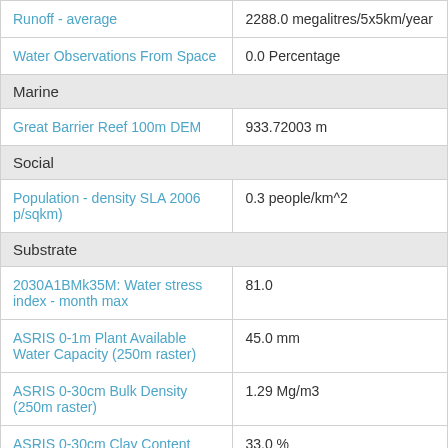| Property | Value |
| --- | --- |
| Runoff - average | 2288.0 megalitres/5x5km/year |
| Water Observations From Space | 0.0 Percentage |
| Marine |  |
| Great Barrier Reef 100m DEM | 933.72003 m |
| Social |  |
| Population - density SLA 2006 p/sqkm) | 0.3 people/km^2 |
| Substrate |  |
| 2030A1BMk35M: Water stress index - month max | 81.0 |
| ASRIS 0-1m Plant Available Water Capacity (250m raster) | 45.0 mm |
| ASRIS 0-30cm Bulk Density (250m raster) | 1.29 Mg/m3 |
| ASRIS 0-30cm Clay Content (250... | 33.0 % |